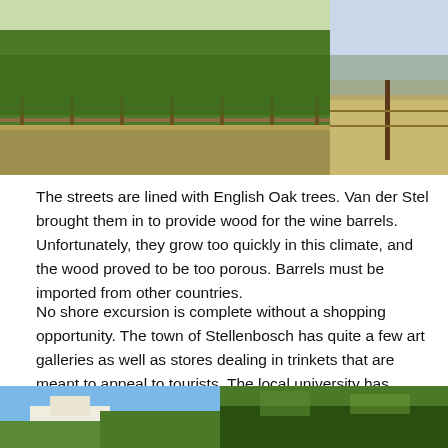[Figure (photo): Two photographs side by side at top: left photo shows a vineyard with green trees/vines along a fence; right photo shows an open dry field with mountains in the background and a fence post.]
The streets are lined with English Oak trees. Van der Stel brought them in to provide wood for the wine barrels. Unfortunately, they grow too quickly in this climate, and the wood proved to be too porous. Barrels must be imported from other countries.
No shore excursion is complete without a shopping opportunity. The town of Stellenbosch has quite a few art galleries as well as stores dealing in trinkets that are meant to appeal to tourists. The local university has courses in viniculture and viticulture, working with the local farmers and vintners.
[Figure (photo): Two photographs side by side at bottom: left photo shows a blue-sky scene with white buildings; right photo shows dense green trees.]